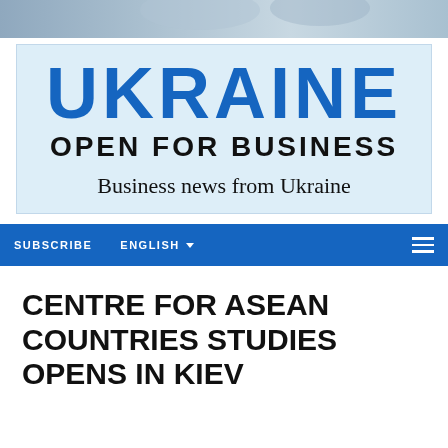[Figure (photo): Partial photo strip at top of page showing blurred people or scene]
UKRAINE
OPEN FOR BUSINESS
Business news from Ukraine
SUBSCRIBE   ENGLISH
CENTRE FOR ASEAN COUNTRIES STUDIES OPENS IN KIEV